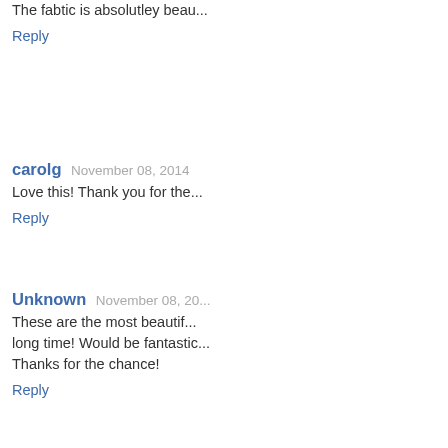The fabtic is absolutley beau...
Reply
carolg  November 08, 2014
[Figure (photo): Avatar photo of carolg showing a dog lying on a surface]
Love this! Thank you for the...
Reply
Unknown  November 08, 20...
[Figure (logo): Blogger orange circle icon for Unknown commenter]
These are the most beautif... long time! Would be fantastic... Thanks for the chance!
Reply
Tricia  November 08, 2014 1...
[Figure (photo): Avatar photo of Tricia showing a dog]
I had no idea Hawthorne w... cool!
Reply
Unknown  November 08, 20...
[Figure (logo): Blogger orange circle icon for Unknown commenter]
absolutely LOVE this line of...